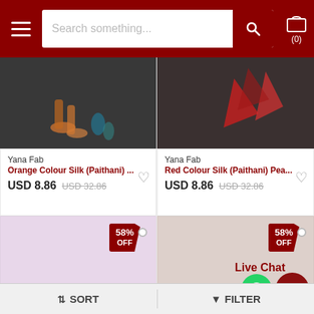[Figure (screenshot): E-commerce website header with hamburger menu, search bar, and cart icon]
[Figure (photo): Orange Colour Silk (Paithani) product partial image on dark background]
Yana Fab
Orange Colour Silk (Paithani) ...
USD 8.86  USD 32.86
[Figure (photo): Red Colour Silk (Paithani) product partial image on dark background]
Yana Fab
Red Colour Silk (Paithani) Pea...
USD 8.86  USD 32.86
[Figure (photo): Lavender/pink product image with 58% OFF tag]
[Figure (photo): Beige/taupe product image with 58% OFF tag and Live Chat button]